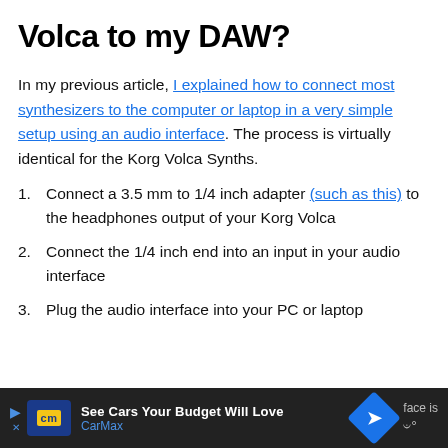Volca to my DAW?
In my previous article, I explained how to connect most synthesizers to the computer or laptop in a very simple setup using an audio interface. The process is virtually identical for the Korg Volca Synths.
Connect a 3.5 mm to 1/4 inch adapter (such as this) to the headphones output of your Korg Volca
Connect the 1/4 inch end into an input in your audio interface
Plug the audio interface into your PC or laptop
[Figure (screenshot): Advertisement banner at the bottom of the page showing CarMax ad with text 'See Cars Your Budget Will Love' and CarMax logo, with partial text 'face is' visible on right side]